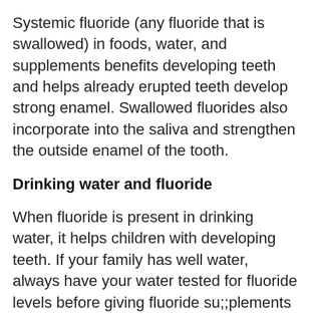Systemic fluoride (any fluoride that is swallowed) in foods, water, and supplements benefits developing teeth and helps already erupted teeth develop strong enamel. Swallowed fluorides also incorporate into the saliva and strengthen the outside enamel of the tooth.
Drinking water and fluoride
When fluoride is present in drinking water, it helps children with developing teeth. If your family has well water, always have your water tested for fluoride levels before giving fluoride supplements to your children. Some wells have sufficient fluoride, and supplements are not